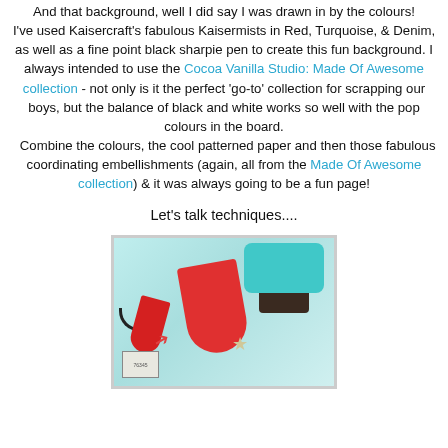And that background, well I did say I was drawn in by the colours! I've used Kaisercraft's fabulous Kaisermists in Red, Turquoise, & Denim, as well as a fine point black sharpie pen to create this fun background. I always intended to use the Cocoa Vanilla Studio: Made Of Awesome collection - not only is it the perfect 'go-to' collection for scrapping our boys, but the balance of black and white works so well with the pop colours in the board. Combine the colours, the cool patterned paper and then those fabulous coordinating embellishments (again, all from the Made Of Awesome collection) & it was always going to be a fun page!
Let's talk techniques....
[Figure (photo): Close-up photo of a scrapbook page showing red surfboard shapes, teal/turquoise textured elements, dark embellishments, a star brad, a black curl embellishment, a stamp, and a red arrow. The background is light teal/aqua coloured.]